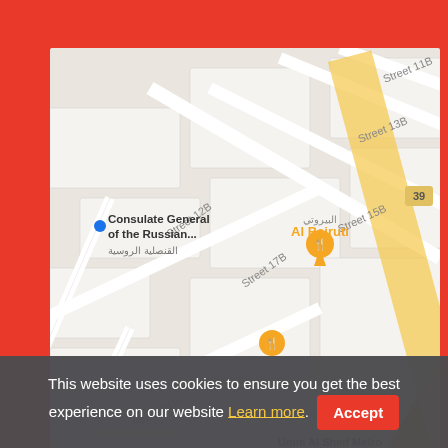[Figure (map): Google Maps view showing Al Quoz area in Dubai with streets labeled Street 8B, Street 10B, Street 11B, Street 12B, Street 13B, Street 15B, Street 17B, Street 21B, Street 25B; landmarks including Consulate General of the Russian (القنصلية الروسية), Al Beiruti (البيروتي) restaurant, Umm Al Sheif Metro Station Al Quoz, Equiti Metro Station 2 / محطة المترو إكويتي 2, Gold & Diam (partial), and a yellow highway/metro line running diagonally.]
This website uses cookies to ensure you get the best experience on our website Learn more. Accept